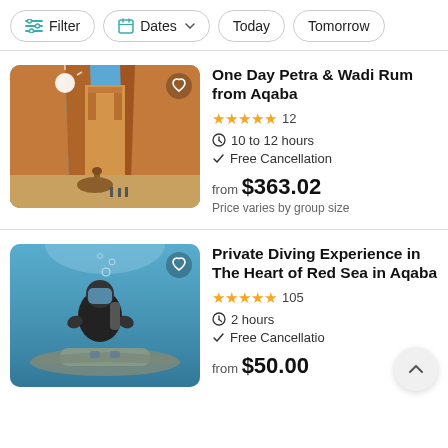[Figure (screenshot): Filter bar with Filter, Dates, Today, and Tomorrow buttons]
[Figure (photo): Photo of Petra canyon with a camel and horse carriage, sunburst over rock walls]
One Day Petra & Wadi Rum from Aqaba
★★★★★ 12
10 to 12 hours
Free Cancellation
from $363.02
Price varies by group size
[Figure (photo): Underwater photo of a scuba diver giving thumbs up near a submerged aircraft]
Private Diving Experience in The Heart of Red Sea in Aqaba
★★★★★ 105
2 hours
Free Cancellatio
from $50.00